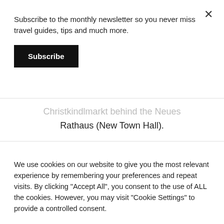Subscribe to the monthly newsletter so you never miss travel guides, tips and much more.
Subscribe
Christkindlmarkt behind the Neues Rathaus (New Town Hall).
We use cookies on our website to give you the most relevant experience by remembering your preferences and repeat visits. By clicking "Accept All", you consent to the use of ALL the cookies. However, you may visit "Cookie Settings" to provide a controlled consent.
Cookie Settings
Accept All